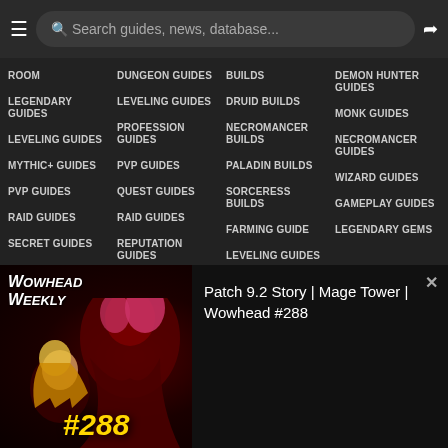Search guides, news, database...
ROOM
LEGENDARY GUIDES
LEVELING GUIDES
MYTHIC+ GUIDES
PVP GUIDES
RAID GUIDES
SECRET GUIDES
DUNGEON GUIDES
LEVELING GUIDES
PROFESSION GUIDES
PVP GUIDES
QUEST GUIDES
RAID GUIDES
REPUTATION GUIDES
BUILDS
DRUID BUILDS
NECROMANCER BUILDS
PALADIN BUILDS
SORCERESS BUILDS
FARMING GUIDE
LEVELING GUIDES
DEMON HUNTER GUIDES
MONK GUIDES
NECROMANCER GUIDES
WIZARD GUIDES
GAMEPLAY GUIDES
LEGENDARY GEMS
[Figure (illustration): Wowhead Weekly banner with anime-style characters, red-themed illustration, #288 label, dark red background]
Patch 9.2 Story | Mage Tower | Wowhead #288